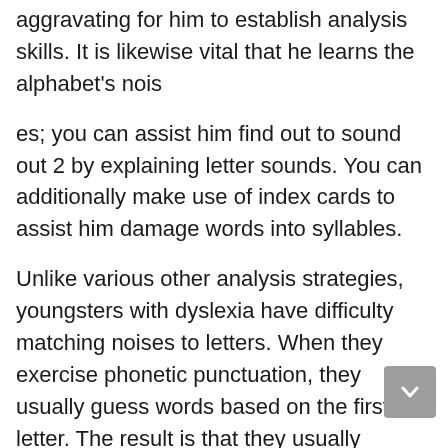aggravating for him to establish analysis skills. It is likewise vital that he learns the alphabet's nois
es; you can assist him find out to sound out 2 by explaining letter sounds. You can additionally make use of index cards to assist him damage words into syllables.
Unlike various other analysis strategies, youngsters with dyslexia have difficulty matching noises to letters. When they exercise phonetic punctuation, they usually guess words based on the first letter. The result is that they usually misspell words, and their reading example will not reflect this. But there are methods